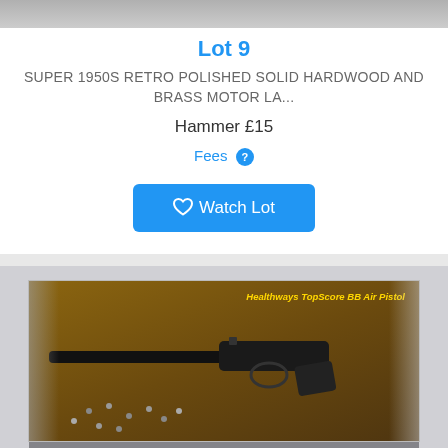[Figure (photo): Top partial image strip of an auction lot item]
Lot 9
SUPER 1950S RETRO POLISHED SOLID HARDWOOD AND BRASS MOTOR LA...
Hammer £15
Fees ?
Watch Lot
[Figure (photo): Healthways TopScore BB Air Pistol product box with pistol displayed on wooden surface with scattered BBs and photographs]
Filter, Sort & Search